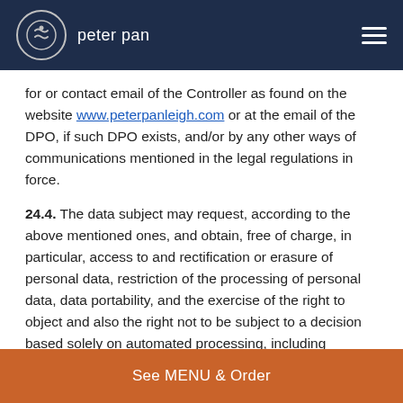peter pan
for or contact email of the Controller as found on the website www.peterpanleigh.com or at the email of the DPO, if such DPO exists, and/or by any other ways of communications mentioned in the legal regulations in force.
24.4. The data subject may request, according to the above mentioned ones, and obtain, free of charge, in particular, access to and rectification or erasure of personal data, restriction of the processing of personal data, data portability, and the exercise of the right to object and also the right not to be subject to a decision based solely on automated processing, including profiling, which produces legal effects concerning him or her or similarly significantly affects him or her but also in relation with the security breach of the personal data.
See MENU & Order